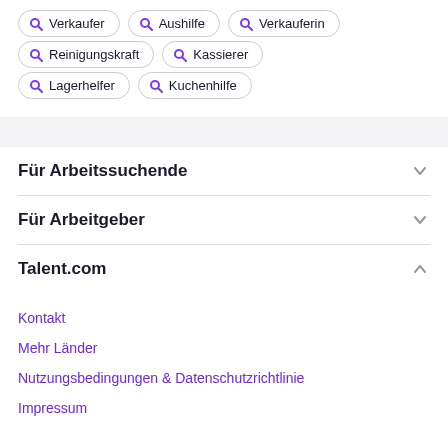Verkaufer
Aushilfe
Verkauferin
Reinigungskraft
Kassierer
Lagerhelfer
Kuchenhilfe
Für Arbeitssuchende
Für Arbeitgeber
Talent.com
Kontakt
Mehr Länder
Nutzungsbedingungen & Datenschutzrichtlinie
Impressum